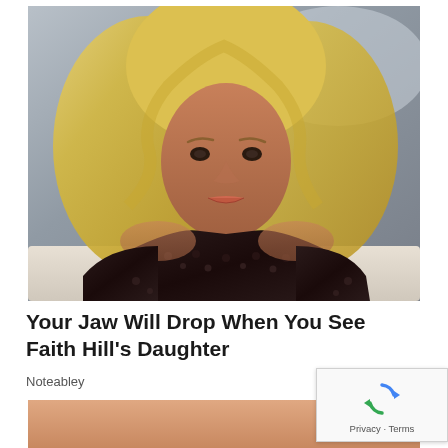[Figure (photo): Portrait photo of Faith Hill, a blonde woman with long wavy blonde hair wearing a black lace/sequin dress, seated against a grey background]
Your Jaw Will Drop When You See Faith Hill's Daughter
Noteabley
[Figure (photo): Partial cropped photo visible at bottom of page]
[Figure (other): reCAPTCHA widget showing recycling arrows logo with Privacy and Terms links]